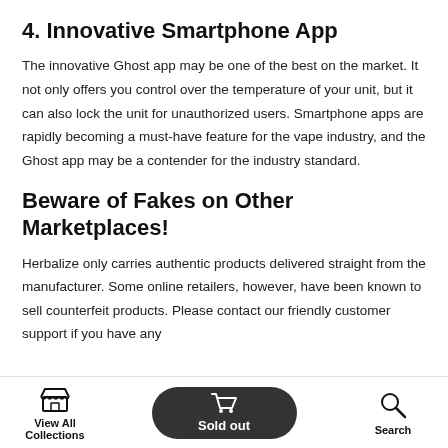4. Innovative Smartphone App
The innovative Ghost app may be one of the best on the market. It not only offers you control over the temperature of your unit, but it can also lock the unit for unauthorized users. Smartphone apps are rapidly becoming a must-have feature for the vape industry, and the Ghost app may be a contender for the industry standard.
Beware of Fakes on Other Marketplaces!
Herbalize only carries authentic products delivered straight from the manufacturer. Some online retailers, however, have been known to sell counterfeit products. Please contact our friendly customer support if you have any
View All Collections   Sold out   Search